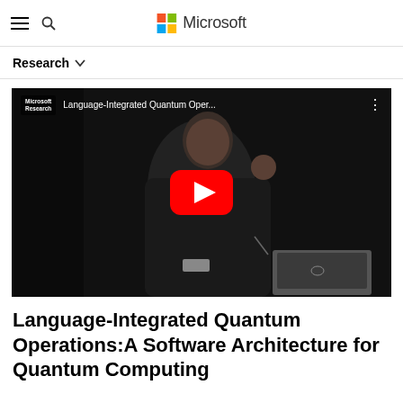Microsoft Research
Research
[Figure (screenshot): YouTube video thumbnail showing a man in a dark shirt presenting, with a Dell laptop on a table. Video title reads 'Language-Integrated Quantum Oper...' with Microsoft Research branding and a YouTube play button overlay.]
Language-Integrated Quantum Operations:A Software Architecture for Quantum Computing